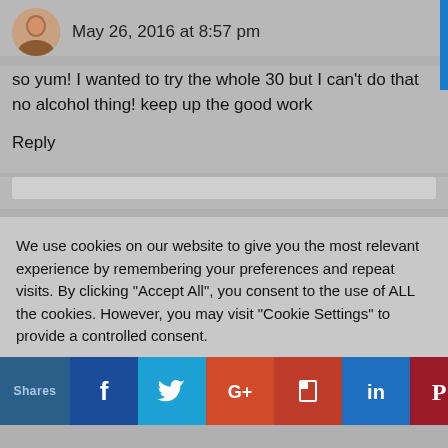May 26, 2016 at 8:57 pm
so yum! I wanted to try the whole 30 but I can't do that no alcohol thing! keep up the good work
Reply
We use cookies on our website to give you the most relevant experience by remembering your preferences and repeat visits. By clicking "Accept All", you consent to the use of ALL the cookies. However, you may visit "Cookie Settings" to provide a controlled consent.
Cookie Settings
Accept All
Shares